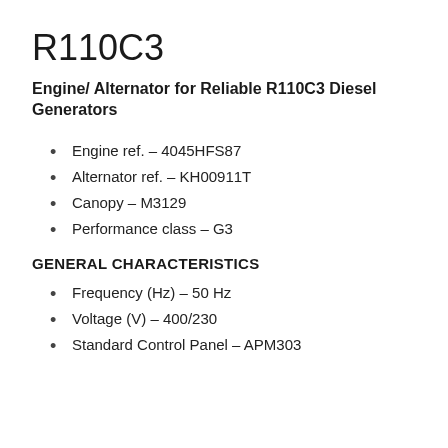R110C3
Engine/ Alternator for Reliable R110C3 Diesel Generators
Engine ref. – 4045HFS87
Alternator ref. – KH00911T
Canopy – M3129
Performance class – G3
GENERAL CHARACTERISTICS
Frequency (Hz) – 50 Hz
Voltage (V) – 400/230
Standard Control Panel – APM303